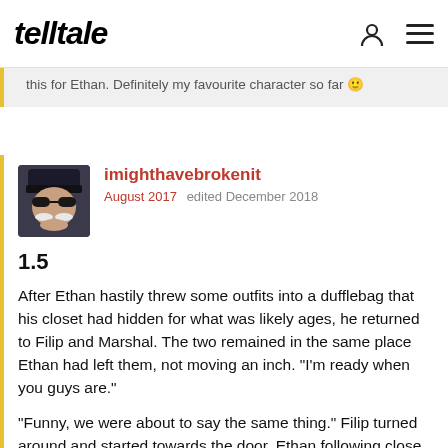telltale
this for Ethan. Definitely my favourite character so far 🙂
imighthavebrokenit
August 2017   edited December 2018
1.5
After Ethan hastily threw some outfits into a dufflebag that his closet had hidden for what was likely ages, he returned to Filip and Marshal. The two remained in the same place Ethan had left them, not moving an inch. "I'm ready when you guys are."
"Funny, we were about to say the same thing." Filip turned around and started towards the door, Ethan following close behind him while keeping an eye on Marshal, who was a few steps behind him. "If you don't want to hold your things then Marshal can take them. we've got a small walk to make, then there's a truck. The truck will take us the rest of